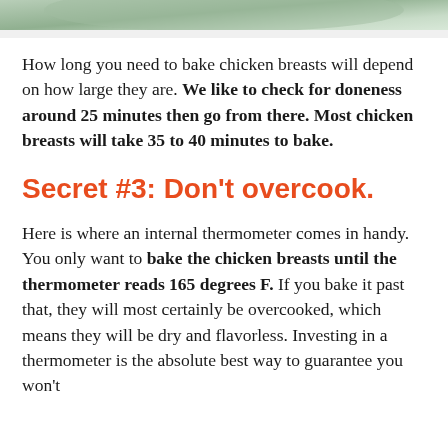[Figure (photo): Top portion of a photo showing a baking dish with chicken breasts, partial view cropped at top of page]
How long you need to bake chicken breasts will depend on how large they are. We like to check for doneness around 25 minutes then go from there. Most chicken breasts will take 35 to 40 minutes to bake.
Secret #3: Don't overcook.
Here is where an internal thermometer comes in handy. You only want to bake the chicken breasts until the thermometer reads 165 degrees F. If you bake it past that, they will most certainly be overcooked, which means they will be dry and flavorless. Investing in a thermometer is the absolute best way to guarantee you won't